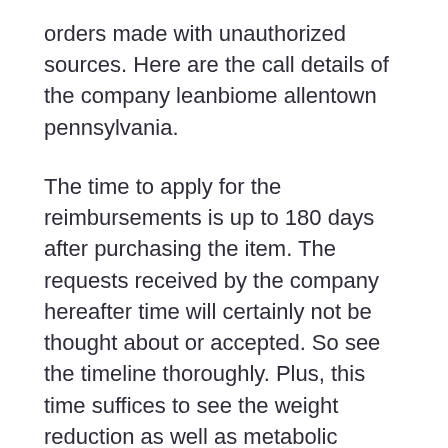orders made with unauthorized sources. Here are the call details of the company leanbiome allentown pennsylvania.
The time to apply for the reimbursements is up to 180 days after purchasing the item. The requests received by the company hereafter time will certainly not be thought about or accepted. So see the timeline thoroughly. Plus, this time suffices to see the weight reduction as well as metabolic adjustments in the body. Adhere to the use standards and provide this item a full chance to reveal its results. Speak to the firm if you do not see it working.
Lean Biome Final Thoughts